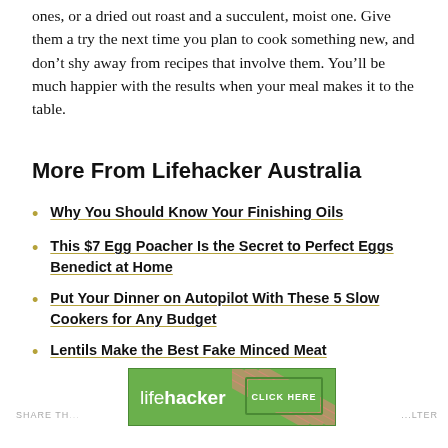ones, or a dried out roast and a succulent, moist one. Give them a try the next time you plan to cook something new, and don't shy away from recipes that involve them. You'll be much happier with the results when your meal makes it to the table.
More From Lifehacker Australia
Why You Should Know Your Finishing Oils
This $7 Egg Poacher Is the Secret to Perfect Eggs Benedict at Home
Put Your Dinner on Autopilot With These 5 Slow Cookers for Any Budget
Lentils Make the Best Fake Minced Meat
[Figure (logo): Lifehacker advertisement banner with green background, Lifehacker logo on left and 'CLICK HERE' button on right with diagonal stripe pattern]
SHARE TH... ...LTER